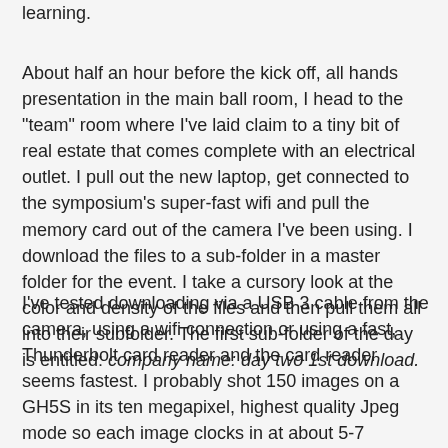learning.
About half an hour before the kick off, all hands presentation in the main ball room, I head to the "team" room where I've laid claim to a tiny bit of real estate that comes complete with an electrical outlet. I pull out the new laptop, get connected to the symposium's super-fast wifi and pull the memory card out of the camera I've been using. I download the files to a sub-folder in a master folder for the event. I take a cursory look at the color and density of the files and then pull them all into their subfolder. The first sub-folder of the day is entitled: company name: day two 1st download.
I've tested downloading via a USB 3 cable from the camera, using a wifi connection or using a fast, Thunderbolt card reader and the card reader seems fastest. I probably shot 150 images on a GH5S in its ten megapixel, highest quality Jpeg mode so each image clocks in at about 5-7 megapixels.These get sucked onto the SSD drive so quickly that the transfer is done before I get a really good sip of coffee.